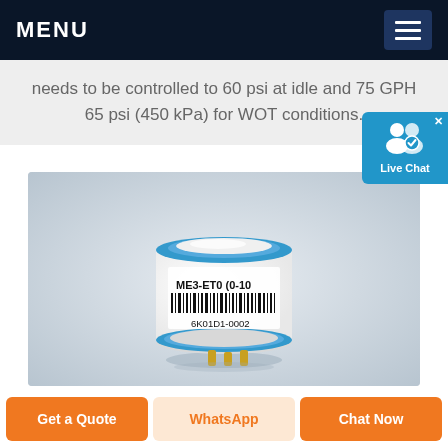MENU
needs to be controlled to 60 psi at idle and 75 GPH 65 psi (450 kPa) for WOT conditions.
[Figure (photo): A small cylindrical electrochemical gas sensor labeled ME3-ET0 (0-100) with barcode 6K01D1-0002, featuring a blue ring on top and gold pins on the bottom, on a light gray background.]
Get a Quote
WhatsApp
Chat Now